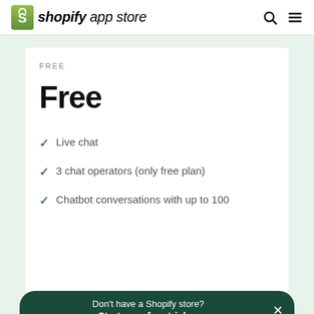shopify app store
FREE
Free
Live chat
3 chat operators (only free plan)
Chatbot conversations with up to 100 visitors/
Don't have a Shopify store? Start your free trial →
Desktop & mobile app